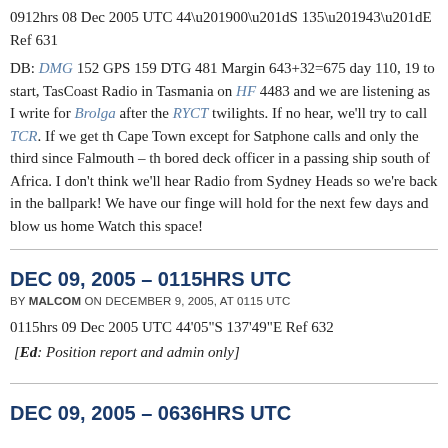0912hrs 08 Dec 2005 UTC 44’00”S 135’43”E Ref 631
DB: DMG 152 GPS 159 DTG 481 Margin 643+32=675 day 110, 19 to start, TasCoast Radio in Tasmania on HF 4483 and we are listening as I write for Brolga after the RYCT twilights. If no hear, we’ll try to call TCR. If we get th Cape Town except for Satphone calls and only the third since Falmouth – th bored deck officer in a passing ship south of Africa. I don’t think we’ll hear Radio from Sydney Heads so we’re back in the ballpark! We have our finge will hold for the next few days and blow us home Watch this space!
DEC 09, 2005 – 0115HRS UTC
BY MALCOM ON DECEMBER 9, 2005, AT 0115 UTC
0115hrs 09 Dec 2005 UTC 44’05”S 137’49”E Ref 632
[Ed: Position report and admin only]
DEC 09, 2005 – 0636HRS UTC